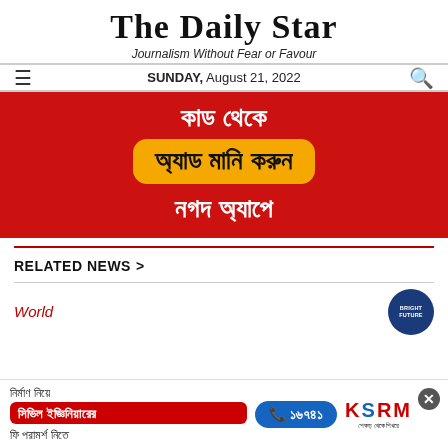The Daily Star — Journalism Without Fear or Favour
SUNDAY, August 21, 2022
[Figure (infographic): Red advertisement banner with Bengali text. Top text in white: 'কাড থেকে', yellow pill box with black text: 'অ্যাড মানি করুন', white text below: 'নগদ অ্যাপে']
RELATED NEWS >
World
[Figure (infographic): Bottom advertisement banner: construction/civil engineering ad with Bengali text, phone number ১৬৭৪১, KSRM logo]